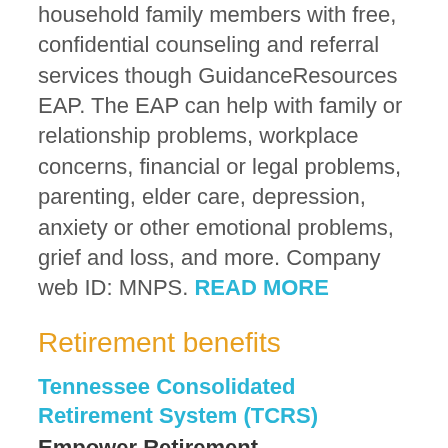household family members with free, confidential counseling and referral services though GuidanceResources EAP. The EAP can help with family or relationship problems, workplace concerns, financial or legal problems, parenting, elder care, depression, anxiety or other emotional problems, grief and loss, and more. Company web ID: MNPS. READ MORE
Retirement benefits
Tennessee Consolidated Retirement System (TCRS)
Empower Retirement
1-800-922-7772
MNPS is a member of the Tennessee Consolidated Retirement System (TCRS), a program that provides a pension to eligible retirees. Participants contribute 5% of pay to the plan, with individual school districts making up the difference in cost. Benefits are a percentage of pay